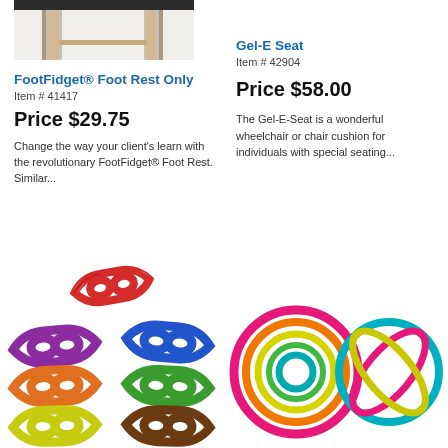[Figure (photo): Top portion of a wooden chair with black seat visible at top of page]
FootFidget® Foot Rest Only
Item # 41417
Price $29.75
Change the way your client's learn with the revolutionary FootFidget® Foot Rest. Similar...
Gel-E Seat
Item # 42904
Price $58.00
The Gel-E-Seat is a wonderful wheelchair or chair cushion for individuals with special seating...
[Figure (photo): Colorful fidget link toys in red, purple, orange, yellow on left and blue, green, brown on right]
[Figure (photo): Colorful ring/loop sensory toys - nested concentric rings in pink/teal/yellow and a knotted ring toy in teal/pink/yellow]